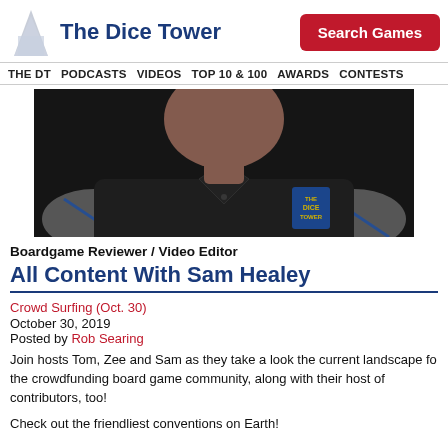The Dice Tower | Search Games
THE DT  PODCASTS  VIDEOS  TOP 10 & 100  AWARDS  CONTESTS
[Figure (photo): Photo of a man wearing a dark polo shirt with The Dice Tower logo on it, grey sleeves with blue trim]
Boardgame Reviewer / Video Editor
All Content With Sam Healey
Crowd Surfing (Oct. 30)
October 30, 2019
Posted by Rob Searing
Join hosts Tom, Zee and Sam as they take a look the current landscape fo the crowdfunding board game community, along with their host of contributors, too!
Check out the friendliest conventions on Earth!